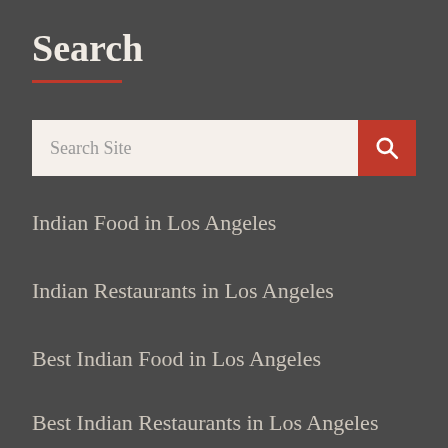Search
[Figure (other): Search input box with orange search button]
Indian Food in Los Angeles
Indian Restaurants in Los Angeles
Best Indian Food in Los Angeles
Best Indian Restaurants in Los Angeles